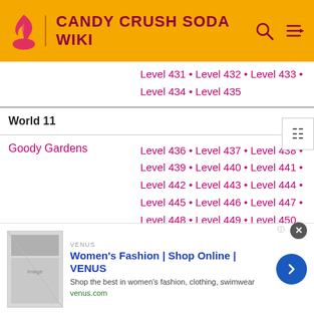CANDY CRUSH SODA WIKI
| Area | Levels |
| --- | --- |
| (partial) Level 431 • Level 432 • Level 433 • Level 434 • Level 435 |
| World 11 |  |
| Goody Gardens | Level 436 • Level 437 • Level 438 • Level 439 • Level 440 • Level 441 • Level 442 • Level 443 • Level 444 • Level 445 • Level 446 • Level 447 • Level 448 • Level 449 • Level 450 |
| Ice Pop Pools | Level 451 • Level 452 • Level 453 • Level 454 • Level 455 • Level 456 • Level 457 • Level 458 • Level 459 • Level 460 • |
[Figure (infographic): Advertisement: Women's Fashion | Shop Online | VENUS - Shop the best in women's fashion, clothing, swimwear - venus.com]